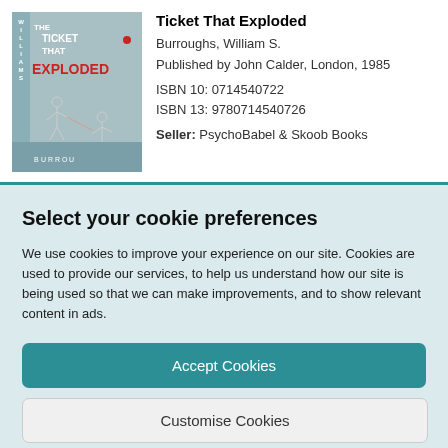[Figure (illustration): Book cover of 'The Ticket That Exploded' by William S. Burroughs, showing teal/grey background with stick figure drawings and red/black title text]
Ticket That Exploded
Burroughs, William S.
Published by John Calder, London, 1985
ISBN 10: 0714540722
ISBN 13: 9780714540726
Seller: PsychoBabel & Skoob Books
Select your cookie preferences
We use cookies to improve your experience on our site. Cookies are used to provide our services, to help us understand how our site is being used so that we can make improvements, and to show relevant content in ads.
Accept Cookies
Customise Cookies